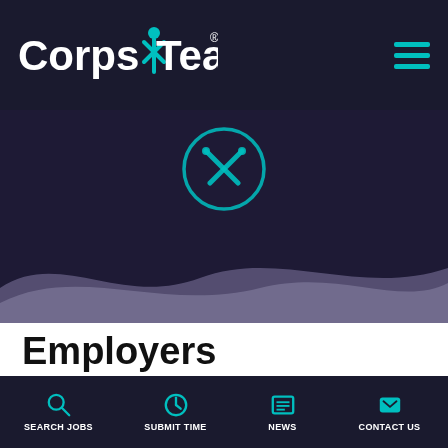Corps Team (logo) — navigation header
[Figure (screenshot): CorpsTeam hero section with circular icon (crossed tools/pencil) on dark purple background with wave graphic]
Employers
Corps Team is a nationwide, professional staffing
SEARCH JOBS | SUBMIT TIME | NEWS | CONTACT US